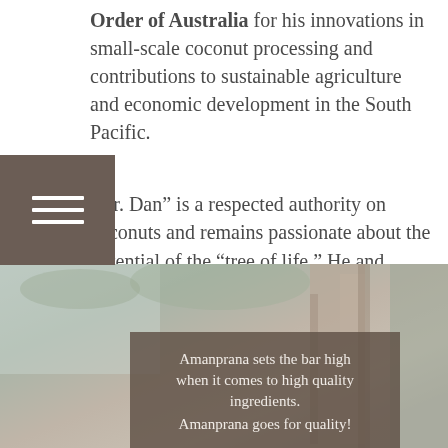Order of Australia for his innovations in small-scale coconut processing and contributions to sustainable agriculture and economic development in the South Pacific.
"Dr. Dan" is a respected authority on coconuts and remains passionate about the potential of the "tree of life." He and Maureen have three children, nine grandchildren and are active in their local church.
[Figure (photo): Blurred background photo of a coconut palm tree trunk, with a semi-transparent brownish overlay box containing text about Amanprana.]
Amanprana sets the bar high when it comes to high quality ingredients. Amanprana goes for quality!